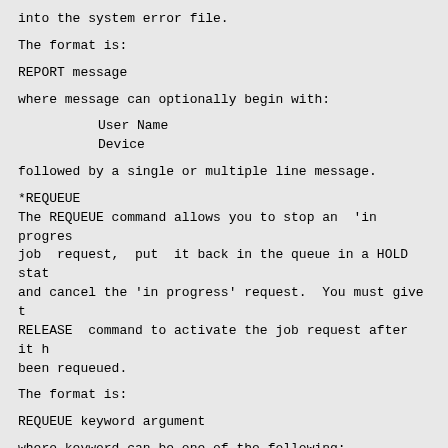into the system error file.
The format is:
REPORT message
where message can optionally begin with:
User Name
Device
followed by a single or multiple line message.
*REQUEUE
The REQUEUE command allows you to stop an  'in  progress' job  request,  put  it back in the queue in a HOLD state and cancel the 'in progress' request.  You must give the RELEASE  command to activate the job request after it has been requeued.
The format is:
REQUEUE keyword argument
where keyword can be one of the following:
BATCH-STREAM
CARD-PUNCH
PAPER-TAPE-PUNCH